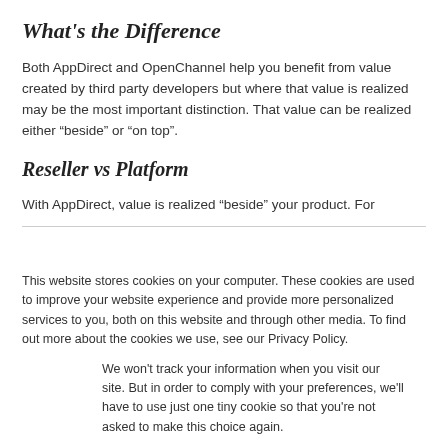What’s the Difference
Both AppDirect and OpenChannel help you benefit from value created by third party developers but where that value is realized may be the most important distinction. That value can be realized either “beside” or “on top”.
Reseller vs Platform
With AppDirect, value is realized “beside” your product. For
This website stores cookies on your computer. These cookies are used to improve your website experience and provide more personalized services to you, both on this website and through other media. To find out more about the cookies we use, see our Privacy Policy.
We won’t track your information when you visit our site. But in order to comply with your preferences, we’ll have to use just one tiny cookie so that you’re not asked to make this choice again.
Accept
Decline